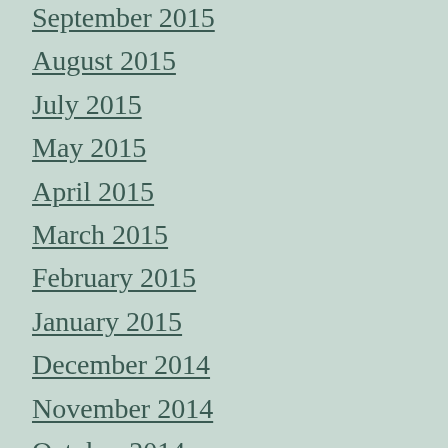September 2015
August 2015
July 2015
May 2015
April 2015
March 2015
February 2015
January 2015
December 2014
November 2014
October 2014
September 2014
August 2014
July 2014